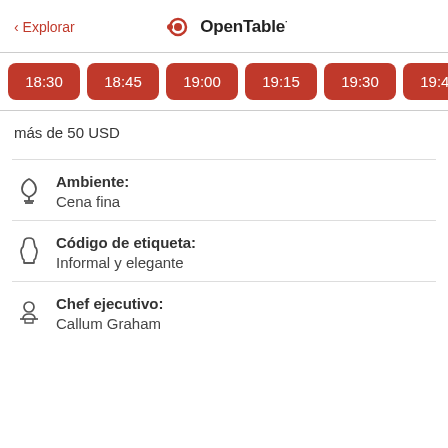< Explorar   OpenTable
18:30
18:45
19:00
19:15
19:30
19:45
20:00
más de 50 USD
Ambiente: Cena fina
Código de etiqueta: Informal y elegante
Chef ejecutivo: Callum Graham